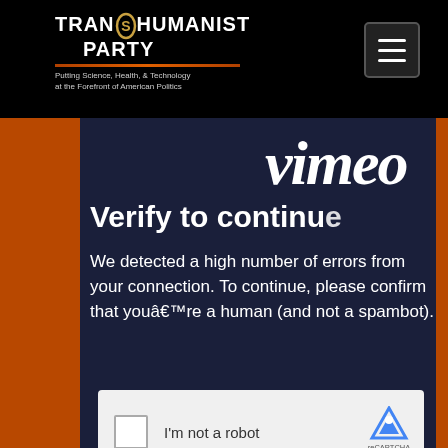[Figure (screenshot): Screenshot of a webpage showing the Transhumanist Party website with a Vimeo verification overlay. The top navbar is black with the Transhumanist Party logo and a hamburger menu icon. Below is a dark navy blue content area showing the Vimeo logo, a 'Verify to continue' heading, a message about detecting errors and requesting human verification, and a reCAPTCHA 'I'm not a robot' checkbox widget. Orange side borders frame the content area.]